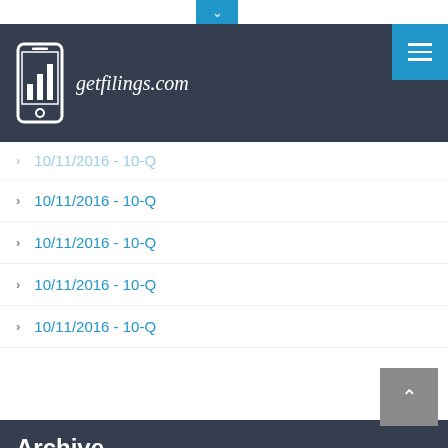[Figure (logo): getfilings.com logo with mobile phone icon showing bar chart, on dark navy background]
10/11/2016 - 10-Q
10/11/2016 - 10-Q
10/11/2016 - 10-Q
10/11/2016 - 10-Q
10/11/2016 - 10-Q
Archive
September 2021